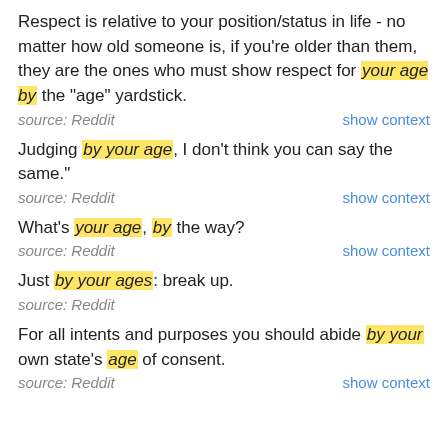Respect is relative to your position/status in life - no matter how old someone is, if you're older than them, they are the ones who must show respect for your age by the "age" yardstick.
source: Reddit    show context
Judging by your age, I don't think you can say the same."
source: Reddit    show context
What's your age, by the way?
source: Reddit    show context
Just by your ages: break up.
source: Reddit
For all intents and purposes you should abide by your own state's age of consent.
source: Reddit    show context